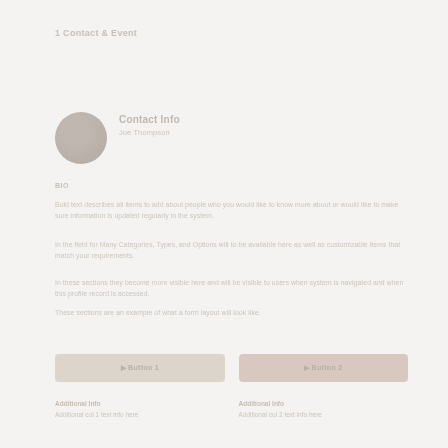1 Contact & Event
[Figure (photo): Circular avatar/profile photo placeholder with muted gray-brown tones]
Contact Info
Joe Thompson
Bio
Bold text describes all items to add about people who you would like to know more about or would like to make sure information is updated regularly in the system.
In the field for Many Categories, Types, and Options will to be available here as well as customizable items that match your requirements.
In these sections they become more visible here and will be visible to users when system is navigated and when this profile record is accessed.
These sections are an example of what a form layout will look like.
Button 1
Button 2
Additional Info col 1
Additional Info col 2